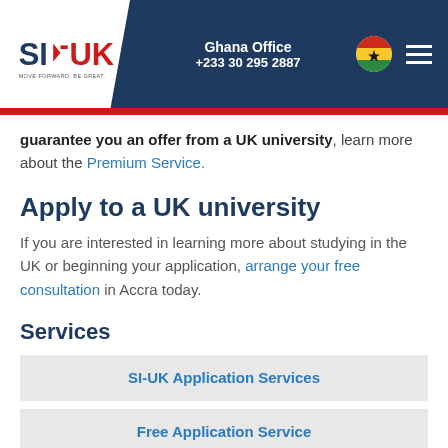SI-UK | Ghana Office | +233 30 295 2887
guarantee you an offer from a UK university, learn more about the Premium Service.
Apply to a UK university
If you are interested in learning more about studying in the UK or beginning your application, arrange your free consultation in Accra today.
Services
SI-UK Application Services
Free Application Service
Premium Service